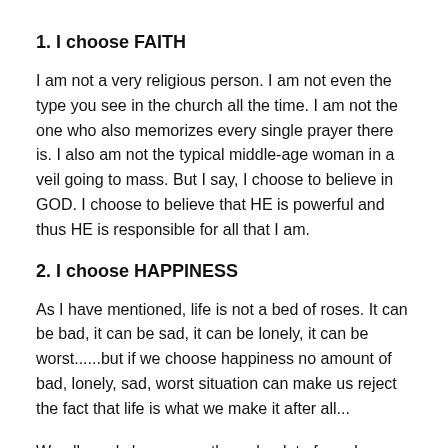1. I choose FAITH
I am not a very religious person. I am not even the type you see in the church all the time. I am not the one who also memorizes every single prayer there is. I also am not the typical middle-age woman in a veil going to mass. But I say, I choose to believe in GOD. I choose to believe that HE is powerful and thus HE is responsible for all that I am.
2. I choose HAPPINESS
As I have mentioned, life is not a bed of roses. It can be bad, it can be sad, it can be lonely, it can be worst......but if we choose happiness no amount of bad, lonely, sad, worst situation can make us reject the fact that life is what we make it after all...
We all surely have gone through a lot of rough, bumpy